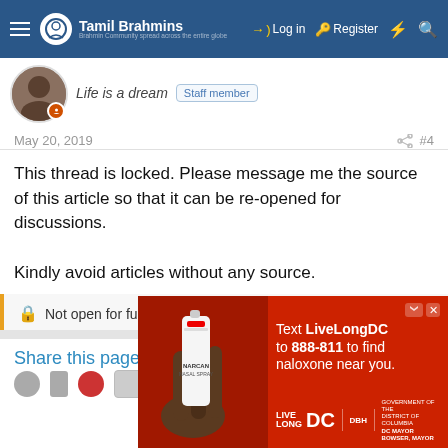Tamil Brahmins — Log in | Register
Life is a dream  Staff member
May 20, 2019  #4
This thread is locked. Please message me the source of this article so that it can be re-opened for discussions.

Kindly avoid articles without any source.
🔒 Not open for further replies.
Share this page
[Figure (photo): Advertisement banner: Text LiveLongDC to 888-811 to find naloxone near you. Shows a hand holding a NARCAN nasal spray. LiveLong DC / DBH / Government of the District of Columbia, DC Mayor branding.]